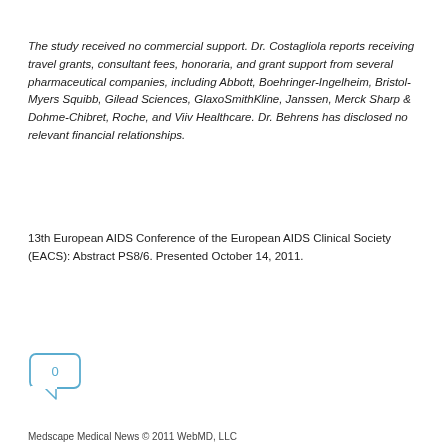The study received no commercial support. Dr. Costagliola reports receiving travel grants, consultant fees, honoraria, and grant support from several pharmaceutical companies, including Abbott, Boehringer-Ingelheim, Bristol-Myers Squibb, Gilead Sciences, GlaxoSmithKline, Janssen, Merck Sharp & Dohme-Chibret, Roche, and Viiv Healthcare. Dr. Behrens has disclosed no relevant financial relationships.
13th European AIDS Conference of the European AIDS Clinical Society (EACS): Abstract PS8/6. Presented October 14, 2011.
[Figure (other): Comment bubble icon showing the number 0]
Medscape Medical News © 2011 WebMD, LLC